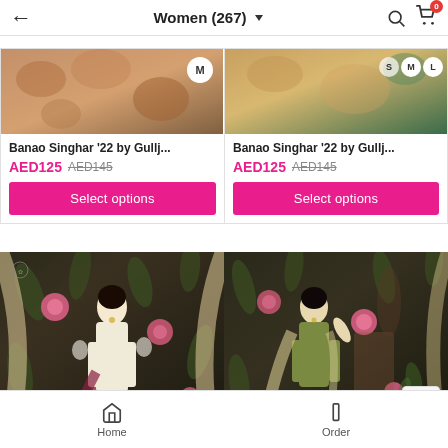Women (267)
[Figure (screenshot): Product image top-left: fashion item with size badge M]
Banao Singhar '22 by Gullj...
AED125 AED145
Select options
[Figure (screenshot): Product image top-right: fashion item with size badges S M L]
Banao Singhar '22 by Gullj...
AED125 AED145
Select options
[Figure (photo): Woman in white embroidered outfit against floral wallpaper background]
[Figure (photo): Woman in olive green salwar kameez against floral wallpaper background]
Home   Order